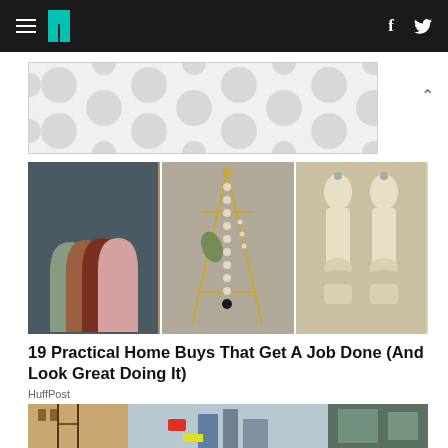HuffPost navigation bar with hamburger menu, logo, Facebook and Twitter icons
[Figure (photo): Advertisement banner with grey polka dot / bubble pattern]
[Figure (photo): Three product photos side by side: colorful arch bookends, gold jewelry stand with hanging necklace, two cream wooden salt/pepper mills]
19 Practical Home Buys That Get A Job Done (And Look Great Doing It)
HuffPost
[Figure (photo): Street scene photo showing building facade with fire escape, street signs, and city skyline in background]